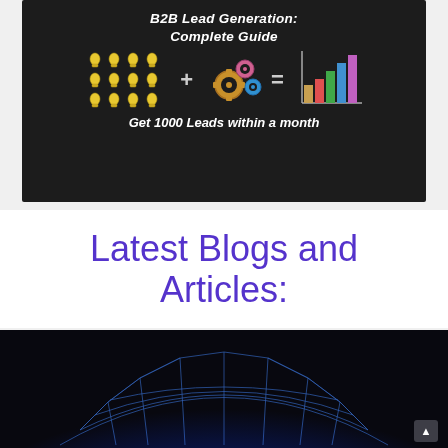[Figure (infographic): Dark chalkboard-style infographic titled 'B2B Lead Generation: Complete Guide' showing lightbulb icons plus gear icons equals a bar chart, with subtitle 'Get 1000 Leads within a month']
Latest Blogs and Articles:
[Figure (photo): Dark photo showing a glowing blue geodesic dome structure at night]